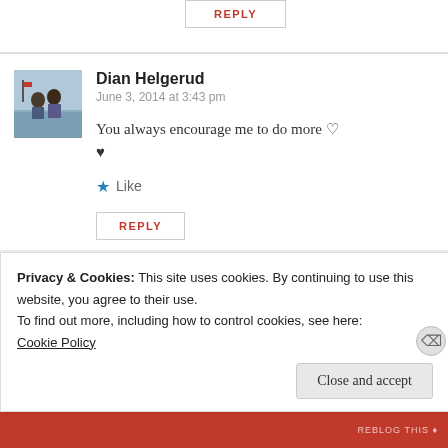REPLY
[Figure (photo): Avatar photo of Dian Helgerud showing two people outdoors near water]
Dian Helgerud
June 3, 2014 at 3:43 pm
You always encourage me to do more ♡ ♥
Like
REPLY
Privacy & Cookies: This site uses cookies. By continuing to use this website, you agree to their use.
To find out more, including how to control cookies, see here:
Cookie Policy
Close and accept